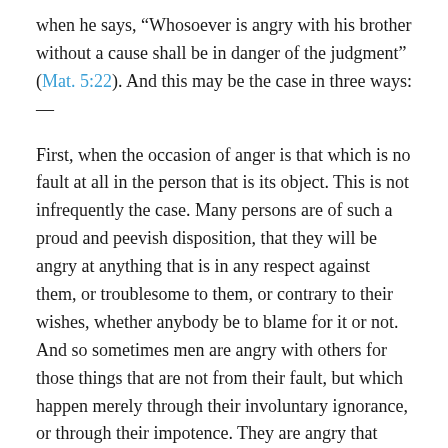when he says, “Whosoever is angry with his brother without a cause shall be in danger of the judgment” (Mat. 5:22). And this may be the case in three ways: —
First, when the occasion of anger is that which is no fault at all in the person that is its object. This is not infrequently the case. Many persons are of such a proud and peevish disposition, that they will be angry at anything that is in any respect against them, or troublesome to them, or contrary to their wishes, whether anybody be to blame for it or not. And so sometimes men are angry with others for those things that are not from their fault, but which happen merely through their involuntary ignorance, or through their impotence. They are angry that they have not done better, when the only cause was, that the circumstances were such that they could not do otherwise than they did. And oftentimes persons are angry with others, not only for that which is no fault in